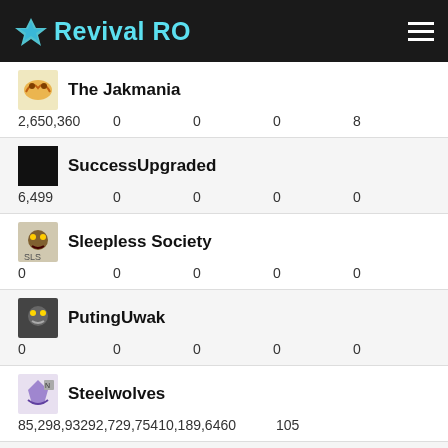Revival RO
The Jakmania | 2,650,360 | 0 | 0 | 0 | 8
SuccessUpgraded | 6,499 | 0 | 0 | 0 | 0
Sleepless Society | 0 | 0 | 0 | 0 | 0
PutingUwak | 0 | 0 | 0 | 0 | 0
Steelwolves | 85,298,932 | 92,729,754 | 10,189,646 | 0 | 105
Black Pink Rising | 0 | 0 | 0 | 0 | 0
Golden Empire | 99,995,268 | 68,848,175 | 16,559,483 | 0 | 87